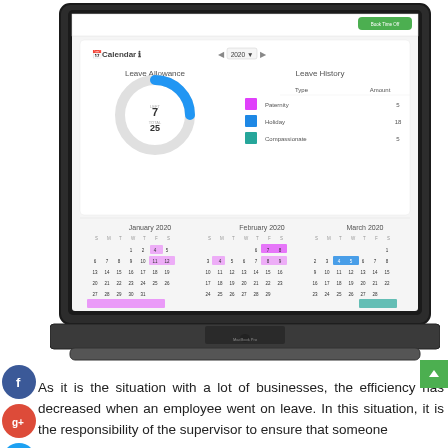[Figure (screenshot): MacBook Pro laptop showing a Calendar/Leave Management application with Leave Allowance donut chart (Left: 7, Total: 25), Leave History table (Paternity: 5, Holiday: 18, Compassionate: 5), and calendar views for January 2020, February 2020, and March 2020 with colored leave blocks highlighted. Green 'Book Time Off' button in top right.]
[Figure (infographic): Social media share icons on left side: Facebook (blue circle), Google+ (red circle), Twitter (blue circle), Plus/share (dark circle)]
As it is the situation with a lot of businesses, the efficiency has decreased when an employee went on leave. In this situation, it is the responsibility of the supervisor to ensure that someone